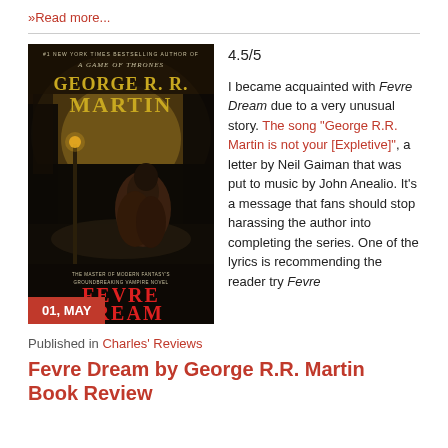» Read more...
[Figure (illustration): Book cover for Fevre Dream by George R.R. Martin. Dark atmospheric fantasy cover with a cloaked figure and foggy bayou landscape. Text reads: #1 New York Times Bestselling Author of A Game of Thrones, George R.R. Martin, The Master of Modern Fantasy's Groundbreaking Vampire Novel, Fevre Dream. Date badge: 01, MAY]
4.5/5

I became acquainted with Fevre Dream due to a very unusual story. The song "George R.R. Martin is not your [Expletive]", a letter by Neil Gaiman that was put to music by John Anealio. It's a message that fans should stop harassing the author into completing the series. One of the lyrics is recommending the reader try Fevre
Published in Charles' Reviews
Fevre Dream by George R.R. Martin Book Review